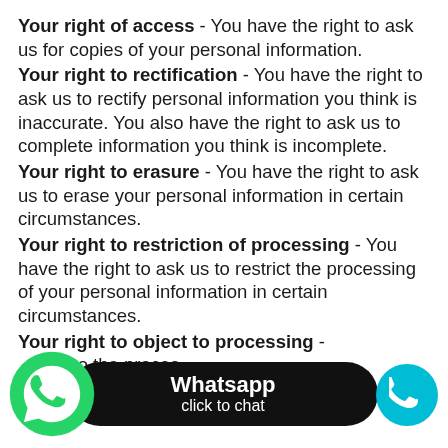Your right of access - You have the right to ask us for copies of your personal information.
Your right to rectification - You have the right to ask us to rectify personal information you think is inaccurate. You also have the right to ask us to complete information you think is incomplete.
Your right to erasure - You have the right to ask us to erase your personal information in certain circumstances.
Your right to restriction of processing - You have the right to ask us to restrict the processing of your personal information in certain circumstances.
Your right to object to processing - [You have the right to object to the processing of your personal information in certain]
[Figure (other): WhatsApp click to chat button overlay with green WhatsApp logo on left, black rounded button with 'Whatsapp click to chat' text, and cyan phone circle icon on right]